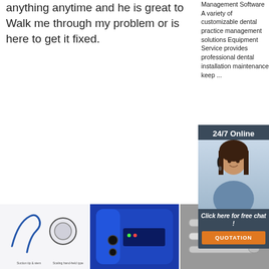anything anytime and he is great to Walk me through my problem or is here to get it fixed.
Get Price
Management Software A variety of customizable dental practice management solutions Equipment Service provides professional dental installation maintenance keep ...
[Figure (infographic): 24/7 Online chat widget overlay with a smiling woman wearing a headset, dark blue-grey background, text 'Click here for free chat!' and an orange QUOTATION button]
Get Price
[Figure (photo): Product image showing dental handpiece tools - suction tip and holder on white background]
[Figure (photo): Product image showing a blue and white dental equipment unit]
[Figure (photo): Product image showing dental turbine handpieces on grey background]